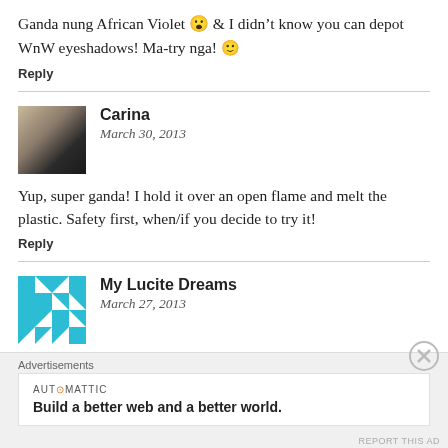Ganda nung African Violet 😮 & I didn't know you can depot WnW eyeshadows! Ma-try nga! 🙂
Reply
Carina
March 30, 2013
Yup, super ganda! I hold it over an open flame and melt the plastic. Safety first, when/if you decide to try it!
Reply
My Lucite Dreams
March 27, 2013
Advertisements
AUTOMATTIC
Build a better web and a better world.